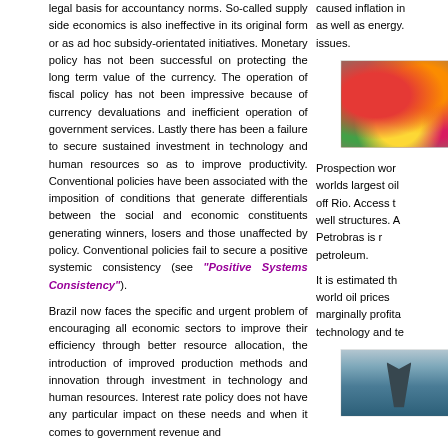legal basis for accountancy norms. So-called supply side economics is also ineffective in its original form or as ad hoc subsidy-orientated initiatives. Monetary policy has not been successful on protecting the long term value of the currency. The operation of fiscal policy has not been impressive because of currency devaluations and inefficient operation of government services. Lastly there has been a failure to secure sustained investment in technology and human resources so as to improve productivity. Conventional policies have been associated with the imposition of conditions that generate differentials between the social and economic constituents generating winners, losers and those unaffected by policy. Conventional policies fail to secure a positive systemic consistency (see "Positive Systems Consistency").
Brazil now faces the specific and urgent problem of encouraging all economic sectors to improve their efficiency through better resource allocation, the introduction of improved production methods and innovation through investment in technology and human resources. Interest rate policy does not have any particular impact on these needs and when it comes to government revenue and
caused inflation in... as well as energy... issues.
[Figure (photo): Photo of colorful fruits and vegetables in baskets/bowls including red apples, oranges, grapes, and other produce]
Prospection wor... worlds largest oil... off Rio. Access t... well structures. A... Petrobras is r... petroleum.
It is estimated th... world oil prices... marginally profita... technology and te...
[Figure (photo): Photo of an oil drilling rig at sea with ocean in the background]